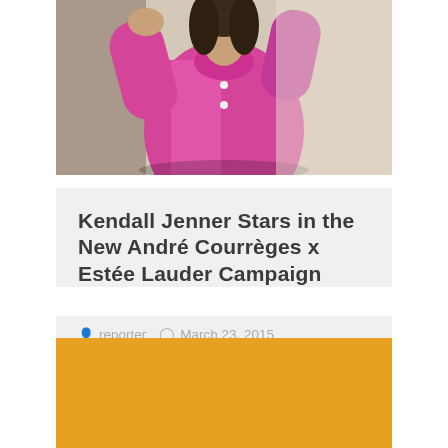[Figure (photo): Kendall Jenner wearing a hot pink jacket, upper body visible against a light beige background]
Kendall Jenner Stars in the New André Courrèges x Estée Lauder Campaign
reporter   March 23, 2015   Beauty, Top Story
International makeup brand Estée Lauder has released the official campaign video for their new makeup collection inspired by French designer André…
[Figure (other): Orange/amber colored rectangle block at bottom of page]